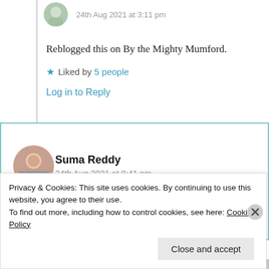24th Aug 2021 at 3:11 pm
Reblogged this on By the Mighty Mumford.
Liked by 5 people
Log in to Reply
Suma Reddy
24th Aug 2021 at 8:41 pm
Privacy & Cookies: This site uses cookies. By continuing to use this website, you agree to their use. To find out more, including how to control cookies, see here: Cookie Policy
Close and accept